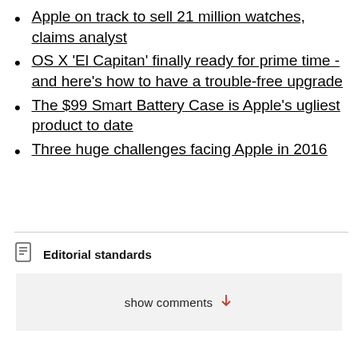Apple on track to sell 21 million watches, claims analyst
OS X 'El Capitan' finally ready for prime time - and here's how to have a trouble-free upgrade
The $99 Smart Battery Case is Apple's ugliest product to date
Three huge challenges facing Apple in 2016
Editorial standards
show comments